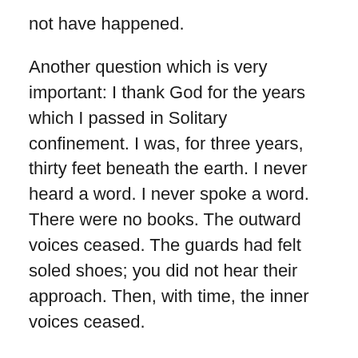not have happened.
Another question which is very important: I thank God for the years which I passed in Solitary confinement. I was, for three years, thirty feet beneath the earth. I never heard a word. I never spoke a word. There were no books. The outward voices ceased. The guards had felt soled shoes; you did not hear their approach. Then, with time, the inner voices ceased.
We were drugged, we were beaten. I forgot my whole theology. I forgot the whole Bible. One day I observed that I had forgotten the “Our Father.” I could not say it any more. I knew that it began with “Our Father…,” but I did not know the continuation. I just kept happy and said, “Our Father, I have forgotten the prayer, but you surely know it by heart. You hear it so many thousand times a day, so